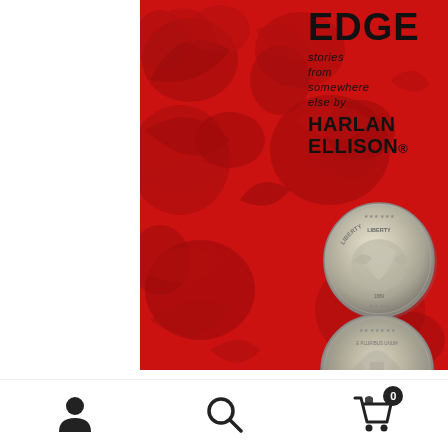[Figure (photo): Book cover of 'Over the Edge' by Harlan Ellison. Red damask floral background with title 'EDGE' in large bold black letters, subtitle 'stories from somewhere else by HARLAN ELLISON.' Two silver coins (obverse and reverse of a Morgan silver dollar) displayed on the right side of the cover.]
Over the Edge (2021 Edgeworks Abbey Archive Trade
[user icon] [search icon] [cart icon with badge 0]